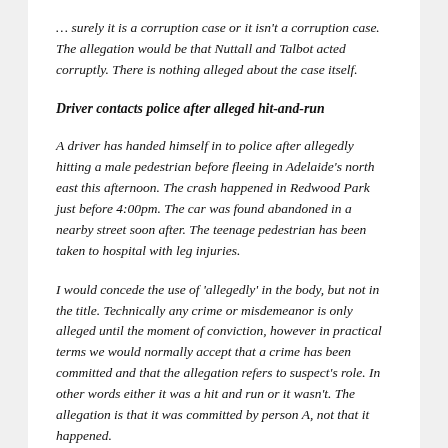… surely it is a corruption case or it isn't a corruption case. The allegation would be that Nuttall and Talbot acted corruptly. There is nothing alleged about the case itself.
Driver contacts police after alleged hit-and-run
A driver has handed himself in to police after allegedly hitting a male pedestrian before fleeing in Adelaide's north east this afternoon. The crash happened in Redwood Park just before 4:00pm. The car was found abandoned in a nearby street soon after. The teenage pedestrian has been taken to hospital with leg injuries.
I would concede the use of 'allegedly' in the body, but not in the title. Technically any crime or misdemeanor is only alleged until the moment of conviction, however in practical terms we would normally accept that a crime has been committed and that the allegation refers to suspect's role. In other words either it was a hit and run or it wasn't. The allegation is that it was committed by person A, not that it happened.